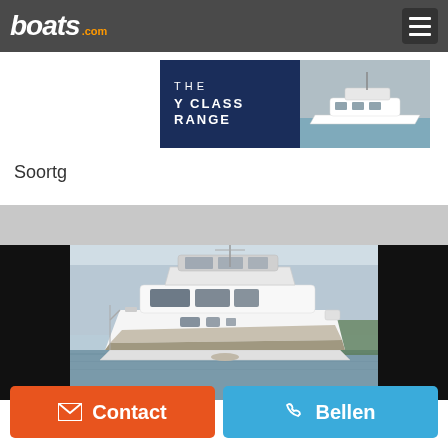boats.com
[Figure (screenshot): Advertisement banner for 'The Y Class Range' showing a luxury motor yacht on the right side against a dark navy background]
Soortg...
[Figure (photo): Large white luxury motor yacht (flybridge cruiser) photographed from the side, moored at a marina with overcast sky]
Contact
Bellen